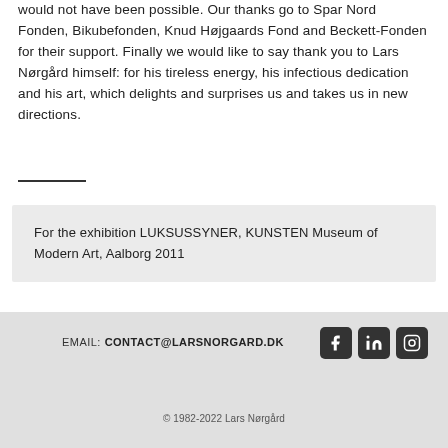would not have been possible. Our thanks go to Spar Nord Fonden, Bikubefonden, Knud Højgaards Fond and Beckett-Fonden for their support. Finally we would like to say thank you to Lars Nørgård himself: for his tireless energy, his infectious dedication and his art, which delights and surprises us and takes us in new directions.
For the exhibition LUKSUSSYNER, KUNSTEN Museum of Modern Art, Aalborg 2011
EMAIL: CONTACT@LARSNORGARD.DK   © 1982-2022 Lars Nørgård